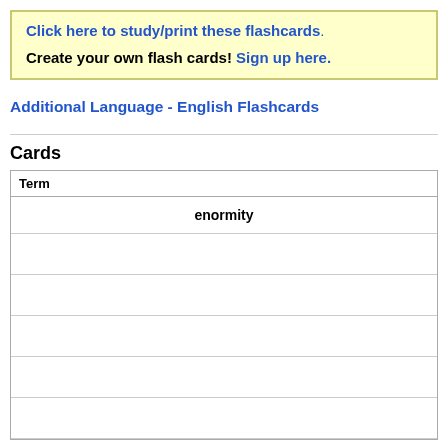Click here to study/print these flashcards. Create your own flash cards! Sign up here.
Additional Language - English Flashcards
Cards
| Term |
| --- |
| enormity |
|  |
|  |
|  |
|  |
|  |